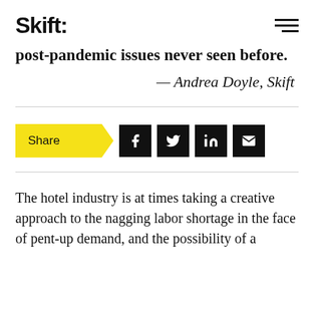Skift
post-pandemic issues never seen before.
— Andrea Doyle, Skift
[Figure (infographic): Share button with social media icons: Facebook, Twitter, LinkedIn, Email]
The hotel industry is at times taking a creative approach to the nagging labor shortage in the face of pent-up demand, and the possibility of a